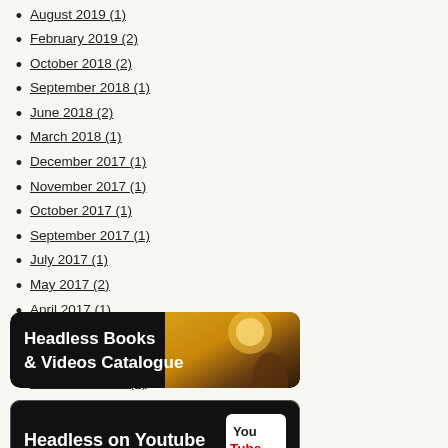August 2019 (1)
February 2019 (2)
October 2018 (2)
September 2018 (1)
June 2018 (2)
March 2018 (1)
December 2017 (1)
November 2017 (1)
October 2017 (1)
September 2017 (1)
July 2017 (1)
May 2017 (2)
April 2017 (1)
February 2017 (2)
January 2017 (7)
December 2016 (2)
November 2016 (1)
[Figure (illustration): Banner for Headless Books & Videos Catalogue with dark background and golden sun/sky image on right]
[Figure (illustration): Banner for Headless on Youtube with dark background and YouTube logo on right]